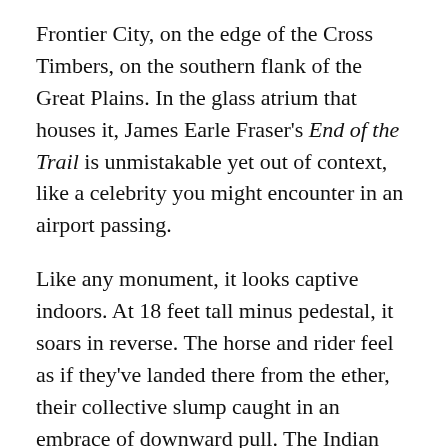Frontier City, on the edge of the Cross Timbers, on the southern flank of the Great Plains. In the glass atrium that houses it, James Earle Fraser's End of the Trail is unmistakable yet out of context, like a celebrity you might encounter in an airport passing.
Like any monument, it looks captive indoors. At 18 feet tall minus pedestal, it soars in reverse. The horse and rider feel as if they've landed there from the ether, their collective slump caught in an embrace of downward pull. The Indian cradles the spear, versus wields it, all but disarmed. That is not a word I choose without trepidation, for decades of critics and commentators, skeptics and sculptors, have seen in Fraser's statue the fate of the Native carved into history, and the saga of the West